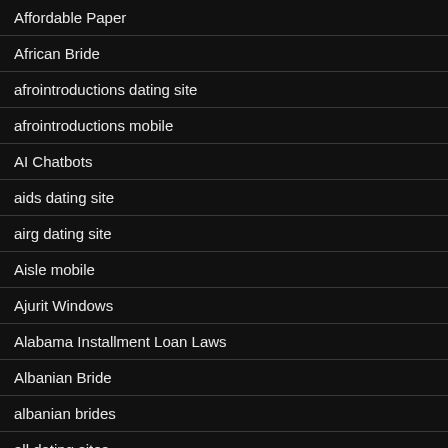Affordable Paper
African Bride
afrointroductions dating site
afrointroductions mobile
AI Chatbots
aids dating site
airg dating site
Aisle mobile
Ajurit Windows
Alabama Installment Loan Laws
Albanian Bride
albanian brides
all dating sites